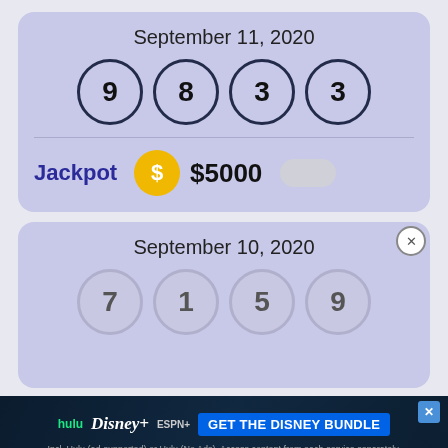September 11, 2020
[Figure (infographic): Four lottery balls showing numbers 9, 8, 3, 3]
Jackpot  $5000
September 10, 2020
[Figure (infographic): Four partially visible lottery balls showing numbers 7, 1, 5, 9]
[Figure (infographic): Disney Bundle advertisement banner: hulu Disney+ ESPN+ GET THE DISNEY BUNDLE. Incl. Hulu (ad-supported) or Hulu (No Ads). Access content from each service separately. ©2021 Disney and its related entities.]